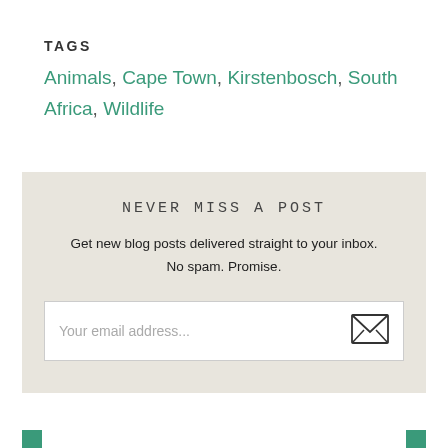TAGS
Animals, Cape Town, Kirstenbosch, South Africa, Wildlife
NEVER MISS A POST
Get new blog posts delivered straight to your inbox. No spam. Promise.
Your email address...